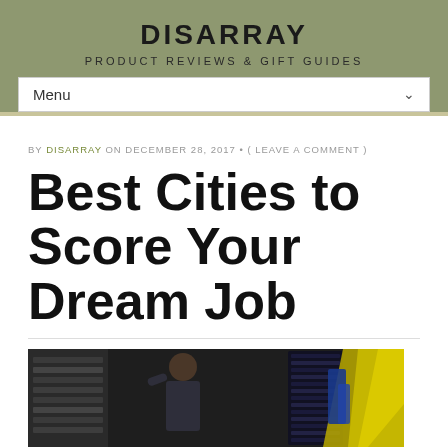DISARRAY
PRODUCT REVIEWS & GIFT GUIDES
BY DISARRAY ON DECEMBER 28, 2017 • ( LEAVE A COMMENT )
Best Cities to Score Your Dream Job
[Figure (photo): Person working near server racks with colorful cables]